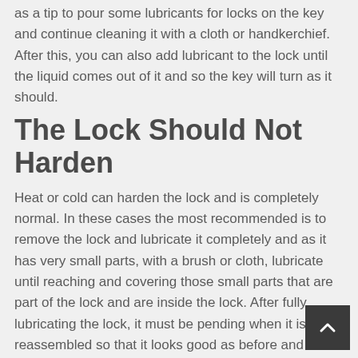as a tip to pour some lubricants for locks on the key and continue cleaning it with a cloth or handkerchief. After this, you can also add lubricant to the lock until the liquid comes out of it and so the key will turn as it should.
The Lock Should Not Harden
Heat or cold can harden the lock and is completely normal. In these cases the most recommended is to remove the lock and lubricate it completely and as it has very small parts, with a brush or cloth, lubricate until reaching and covering those small parts that are part of the lock and are inside the lock. After fully lubricating the lock, it must be pending when it is reassembled so that it looks good as before and works as it should.
It is Always Necessary To Have